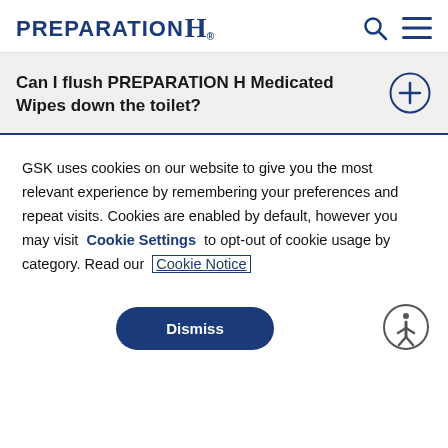PREPARATION H
Can I flush PREPARATION H Medicated Wipes down the toilet?
GSK uses cookies on our website to give you the most relevant experience by remembering your preferences and repeat visits. Cookies are enabled by default, however you may visit Cookie Settings to opt-out of cookie usage by category. Read our Cookie Notice
Dismiss